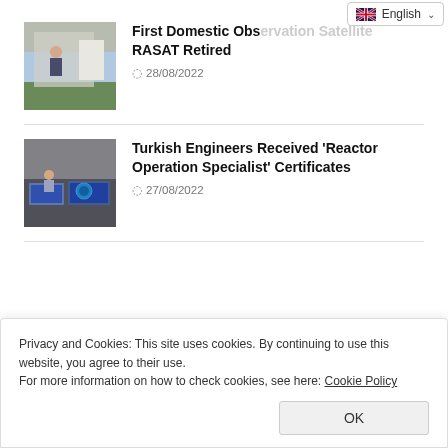English
First Domestic Observation Satellite RASAT Retired
28/08/2022
Turkish Engineers Received 'Reactor Operation Specialist' Certificates
27/08/2022
Privacy and Cookies: This site uses cookies. By continuing to use this website, you agree to their use.
For more information on how to check cookies, see here: Cookie Policy